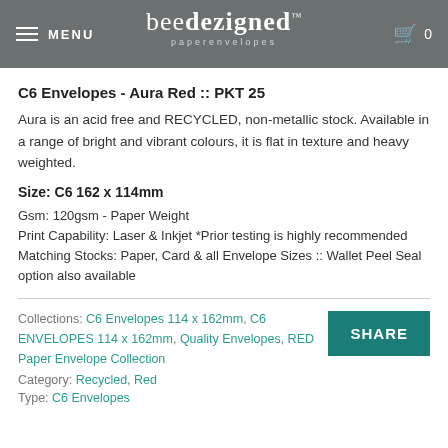MENU | beedezigned™ paperenvelopes | 0
C6 Envelopes - Aura Red :: PKT 25
Aura is an acid free and RECYCLED, non-metallic stock. Available in a range of bright and vibrant colours, it is flat in texture and heavy weighted.
Size: C6 162 x 114mm
Gsm: 120gsm - Paper Weight
Print Capability: Laser & Inkjet *Prior testing is highly recommended
Matching Stocks: Paper, Card & all Envelope Sizes :: Wallet Peel Seal option also available
Collections: C6 Envelopes 114 x 162mm, C6 ENVELOPES 114 x 162mm, Quality Envelopes, RED Paper Envelope Collection
Category: Recycled, Red
Type: C6 Envelopes